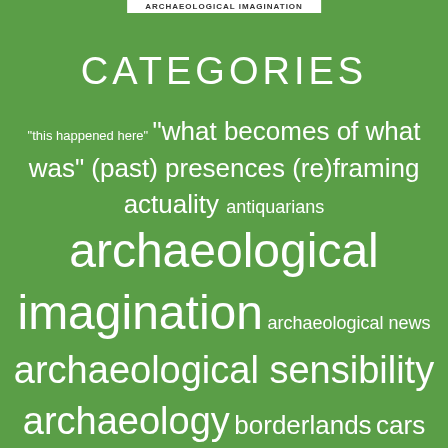ARCHAEOLOGICAL IMAGINATION
CATEGORIES
"this happened here" "what becomes of what was" (past) presences (re)framing actuality antiquarians archaeological imagination archaeological news archaeological sensibility archaeology borderlands cars chorography cityscapes Classics contemporary art contemporary past